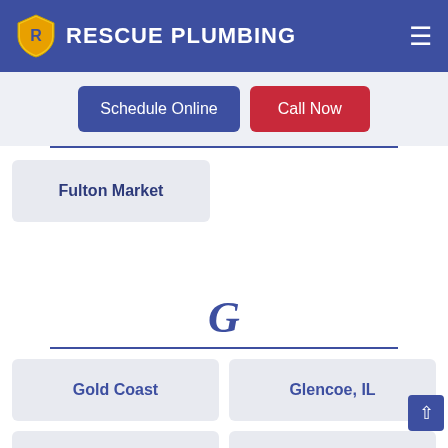RESCUE PLUMBING
Schedule Online
Call Now
Fulton Market
G
Gold Coast
Glencoe, IL